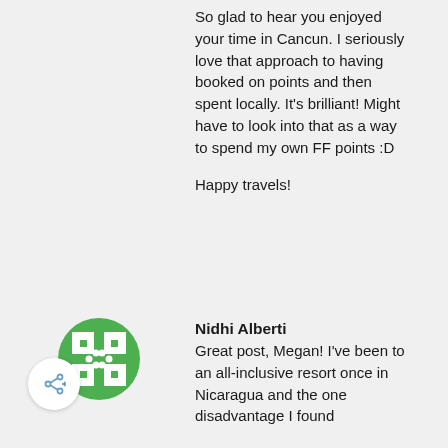So glad to hear you enjoyed your time in Cancun. I seriously love that approach to having booked on points and then spent locally. It's brilliant! Might have to look into that as a way to spend my own FF points :D
Happy travels!
Nidhi Alberti
Great post, Megan! I've been to an all-inclusive resort once in Nicaragua and the one disadvantage I found